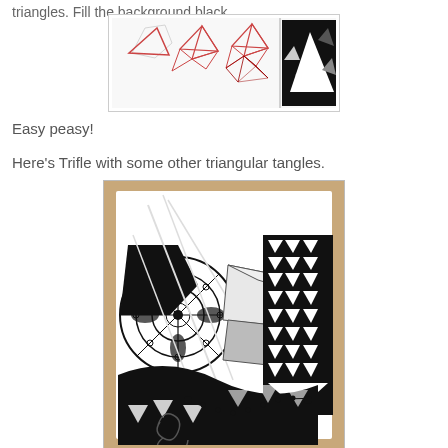triangles. Fill the background black.
[Figure (illustration): Step-by-step drawing tutorial showing how to draw Trifle tangle: triangle outline, then smaller triangles added, then more triangles filling space, then final version with black background filled in]
Easy peasy!
Here's Trifle with some other triangular tangles.
[Figure (photo): Zentangle artwork on a tile showing various tangles including Trifle (triangular pattern), circular mandala patterns, geometric folded paper shapes, and dotted line patterns on a cardboard background]